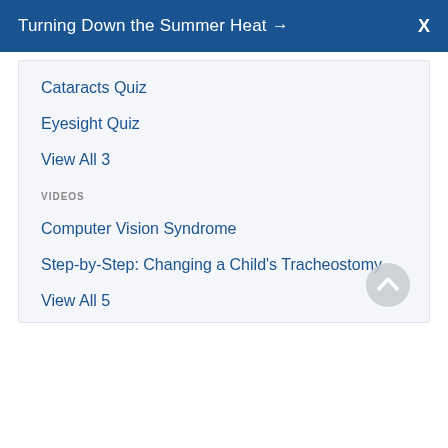Turning Down the Summer Heat → X
Cataracts Quiz
Eyesight Quiz
View All 3
VIDEOS
Computer Vision Syndrome
Step-by-Step: Changing a Child's Tracheostomy
View All 5